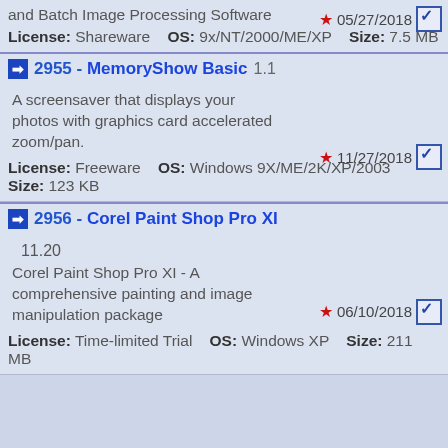and Batch Image Processing Software
License: Shareware   OS: 9x/NT/2000/ME/XP   Size: 7.5 MB
2955 - MemoryShow Basic 1.1
A screensaver that displays your photos with graphics card accelerated zoom/pan.
License: Freeware   OS: Windows 9X/ME/2K/XP/2003   Size: 123 KB
11/27/2018
2956 - Corel Paint Shop Pro XI 11.20
Corel Paint Shop Pro XI - A comprehensive painting and image manipulation package
License: Time-limited Trial   OS: Windows XP   Size: 211 MB
06/10/2018